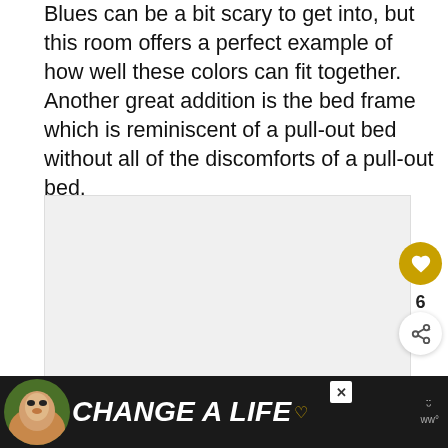Blues can be a bit scary to get into, but this room offers a perfect example of how well these colors can fit together. Another great addition is the bed frame which is reminiscent of a pull-out bed without all of the discomforts of a pull-out bed.
[Figure (photo): Image area showing a bedroom with yellow and blue color scheme, with heart/like button (6 likes) and share button overlaid on the right side]
WHAT'S NEXT → 15 Fantastic Living Room...
[Figure (screenshot): Advertisement banner at bottom: dog image with 'CHANGE A LIFE' text on green/dark background with close button and logo]